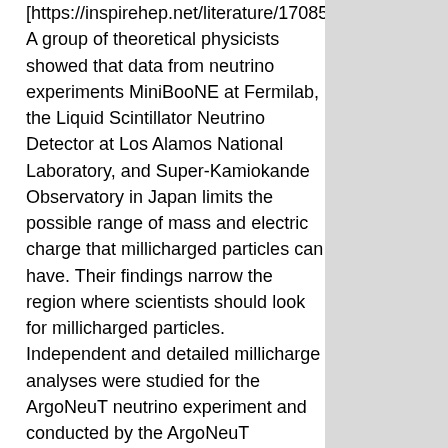[https://inspirehep.net/literature/1708533]. A group of theoretical physicists showed that data from neutrino experiments MiniBooNE at Fermilab, the Liquid Scintillator Neutrino Detector at Los Alamos National Laboratory, and Super-Kamiokande Observatory in Japan limits the possible range of mass and electric charge that millicharged particles can have. Their findings narrow the region where scientists should look for millicharged particles. Independent and detailed millicharge analyses were studied for the ArgoNeuT neutrino experiment and conducted by the ArgoNeuT collaboration.
The search could extend beyond MiniBooNE and LSND to other Fermilab neutrino experiments, including MicroBooNE and the Short-Baseline Near Detector. Further, experiments such as the international, Fermilab-hosted Deep Underground Neutrino Experiment, or DUNE, and CERN's proposed experiment, the Search for Hidden Particles, called SHiP, have the potential to discover millicharged particles in mass ranges that have yet to be experimentally tested. This research may have implications for their detector designs and